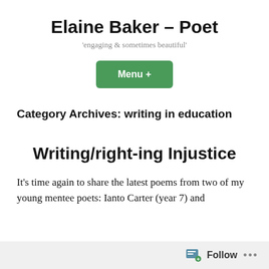Elaine Baker – Poet
'engaging & sometimes beautiful'
Menu +
Category Archives: writing in education
Writing/right-ing Injustice
It's time again to share the latest poems from two of my young mentee poets: Ianto Carter (year 7) and
Follow ...